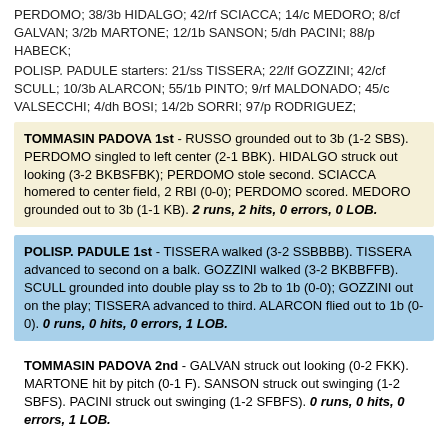PERDOMO; 38/3b HIDALGO; 42/rf SCIACCA; 14/c MEDORO; 8/cf GALVAN; 3/2b MARTONE; 12/1b SANSON; 5/dh PACINI; 88/p HABECK;
POLISP. PADULE starters: 21/ss TISSERA; 22/lf GOZZINI; 42/cf SCULL; 10/3b ALARCON; 55/1b PINTO; 9/rf MALDONADO; 45/c VALSECCHI; 4/dh BOSI; 14/2b SORRI; 97/p RODRIGUEZ;
TOMMASIN PADOVA 1st - RUSSO grounded out to 3b (1-2 SBS). PERDOMO singled to left center (2-1 BBK). HIDALGO struck out looking (3-2 BKBSFBK); PERDOMO stole second. SCIACCA homered to center field, 2 RBI (0-0); PERDOMO scored. MEDORO grounded out to 3b (1-1 KB). 2 runs, 2 hits, 0 errors, 0 LOB.
POLISP. PADULE 1st - TISSERA walked (3-2 SSBBBB). TISSERA advanced to second on a balk. GOZZINI walked (3-2 BKBBFFB). SCULL grounded into double play ss to 2b to 1b (0-0); GOZZINI out on the play; TISSERA advanced to third. ALARCON flied out to 1b (0-0). 0 runs, 0 hits, 0 errors, 1 LOB.
TOMMASIN PADOVA 2nd - GALVAN struck out looking (0-2 FKK). MARTONE hit by pitch (0-1 F). SANSON struck out swinging (1-2 SBFS). PACINI struck out swinging (1-2 SFBFS). 0 runs, 0 hits, 0 errors, 1 LOB.